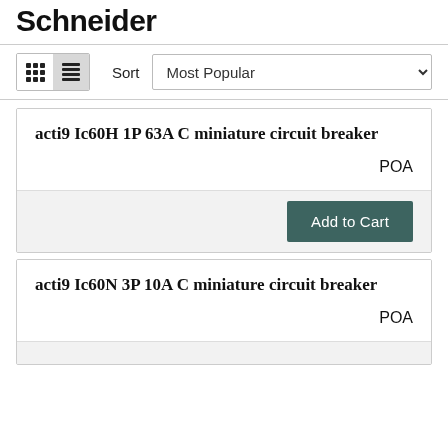Schneider
Sort  Most Popular
acti9 Ic60H 1P 63A C miniature circuit breaker
POA
Add to Cart
acti9 Ic60N 3P 10A C miniature circuit breaker
POA